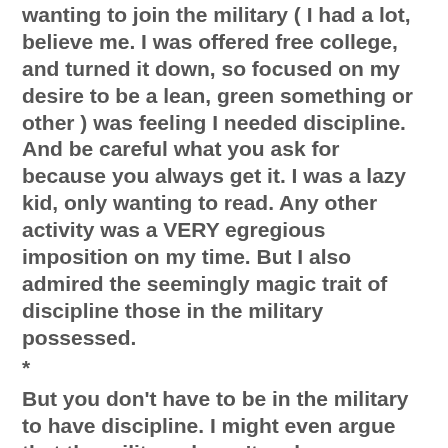wanting to join the military ( I had a lot, believe me. I was offered free college, and turned it down, so focused on my desire to be a lean, green something or other ) was feeling I needed discipline. And be careful what you ask for because you always get it. I was a lazy kid, only wanting to read. Any other activity was a VERY egregious imposition on my time. But I also admired the seemingly magic trait of discipline those in the military possessed.
*
But you don't have to be in the military to have discipline. I might even argue that the military doesn't make you disciplined as much as it makes you OCD. It does help learning discipline, at an early age. But nobody is handicapped by NOT joining the military. It's as simple as watching a tennis shoe commercial. Just do it. It is as simple as that. You only have to agree that